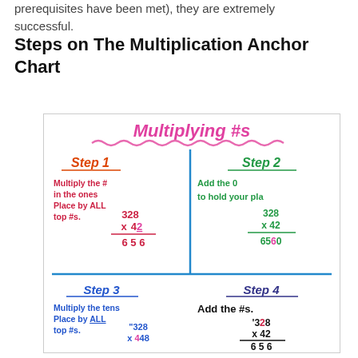prerequisites have been met), they are extremely successful.
Steps on The Multiplication Anchor Chart
[Figure (photo): A classroom anchor chart titled 'Multiplying #s' divided into 4 quadrants showing steps for multi-digit multiplication: Step 1 - Multiply the # in the ones place by ALL top #s (example 328 x 42 = 656); Step 2 - Add the 0 to hold your place (328 x 42, 6560); Step 3 - Multiply the tens place by ALL top #s (328 x 448); Step 4 - Add the #s ('328 x 42, 656)]